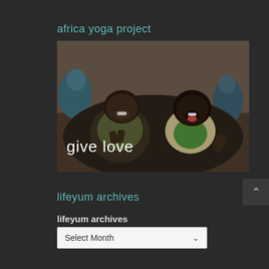africa yoga project
[Figure (photo): Two African children sitting cross-legged and smiling. One child has hands in prayer position, the other is sticking out their tongue. Text 'give love' overlaid at bottom left of image.]
lifeyum archives
lifeyum archives
Select Month